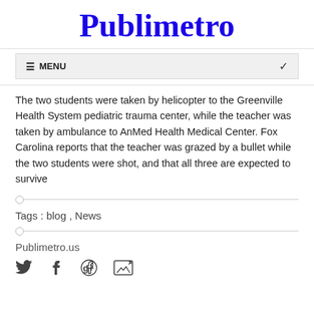Publimetro
≡ MENU
The two students were taken by helicopter to the Greenville Health System pediatric trauma center, while the teacher was taken by ambulance to AnMed Health Medical Center. Fox Carolina reports that the teacher was grazed by a bullet while the two students were shot, and that all three are expected to survive
Tags : blog , News
Publimetro.us